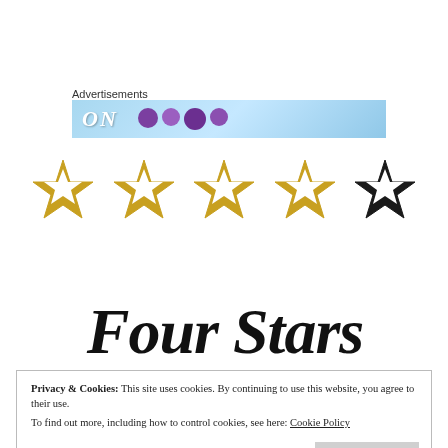Advertisements
[Figure (illustration): Horizontal advertisement banner with light blue background, stylized text 'ON' and purple circle icons]
[Figure (illustration): Five-star rating graphic: four gold outline stars and one black outline star, indicating a four-star rating]
Four Stars
Privacy & Cookies: This site uses cookies. By continuing to use this website, you agree to their use.
To find out more, including how to control cookies, see here: Cookie Policy
Close and accept